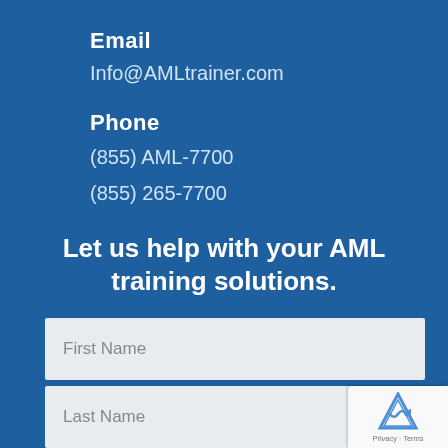Email
Info@AMLtrainer.com
Phone
(855) AML-7700
(855) 265-7700
Let us help with your AML training solutions.
First Name
Last Name
[Figure (logo): reCAPTCHA badge with Privacy - Terms text]